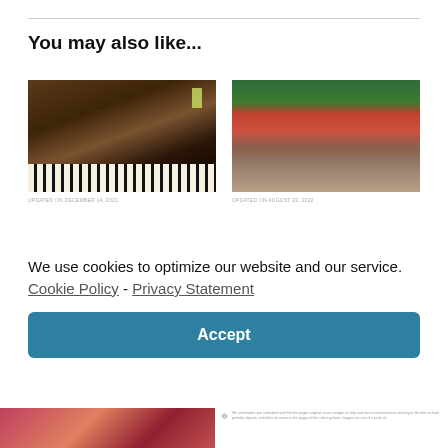You may also like...
[Figure (photo): Antique upright piano in a shop, with price tag, ornate wooden case and ivory keys]
UPDATED ON DECEMBER 14, 2021
[Figure (photo): Outdoor cafe patio with red umbrellas, iron furniture, trees and string lights]
UPDATED ON AUGUST 22, 2022
We use cookies to optimize our website and our service.  Cookie Policy - Privacy Statement
Accept
[Figure (photo): Red flowers close-up, partial view at bottom left]
We information you submitted and that this pages original source images to help and insure commentators to bring to life with archival periods, objects, and other art works in the pages of the coloring book. Images are use of a scale of